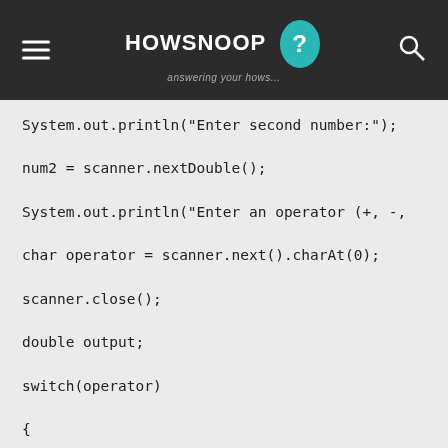HOWSNOOP answering your hows...
System.out.println("Enter second number:");

num2 = scanner.nextDouble();

System.out.println("Enter an operator (+, -,

char operator = scanner.next().charAt(0);

scanner.close();

double output;

switch(operator)

{